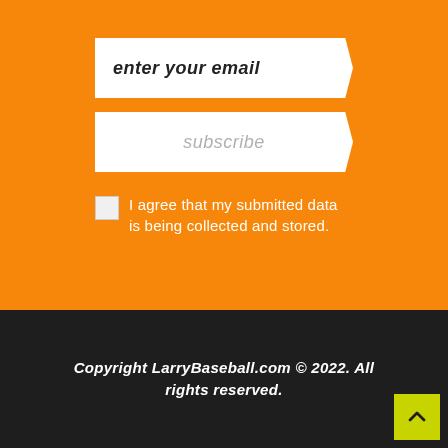enter your email
subscribe
I agree that my submitted data is being collected and stored.
Copyright LarryBaseball.com © 2022. All rights reserved.